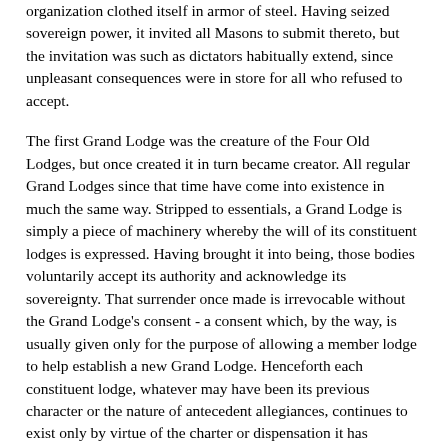organization clothed itself in armor of steel. Having seized sovereign power, it invited all Masons to submit thereto, but the invitation was such as dictators habitually extend, since unpleasant consequences were in store for all who refused to accept.
The first Grand Lodge was the creature of the Four Old Lodges, but once created it in turn became creator. All regular Grand Lodges since that time have come into existence in much the same way. Stripped to essentials, a Grand Lodge is simply a piece of machinery whereby the will of its constituent lodges is expressed. Having brought it into being, those bodies voluntarily accept its authority and acknowledge its sovereignty. That surrender once made is irrevocable without the Grand Lodge's consent - a consent which, by the way, is usually given only for the purpose of allowing a member lodge to help establish a new Grand Lodge. Henceforth each constituent lodge, whatever may have been its previous character or the nature of antecedent allegiances, continues to exist only by virtue of the charter or dispensation it has received in return for its surrender. New lodges, of course, come into existence only by its fiat and are